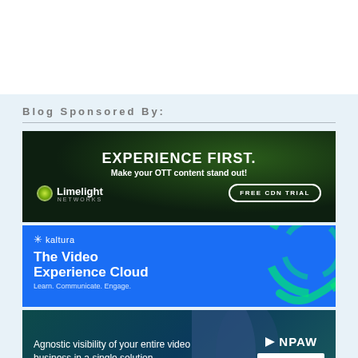Blog Sponsored By:
[Figure (photo): Limelight Networks advertisement: dark green background with glowing globe, text 'EXPERIENCE FIRST. Make your OTT content stand out!' with Limelight Networks logo and FREE CDN TRIAL button]
[Figure (photo): Kaltura advertisement: blue background with circular graphic, Kaltura logo, text 'The Video Experience Cloud. Learn. Communicate. Engage.']
[Figure (photo): NPAW advertisement: dark teal background with purple shapes, text 'Agnostic visibility of your entire video business in a single solution', NPAW logo and LEARN MORE button]
[Figure (photo): Colorful horizontal gradient banner strip at bottom]